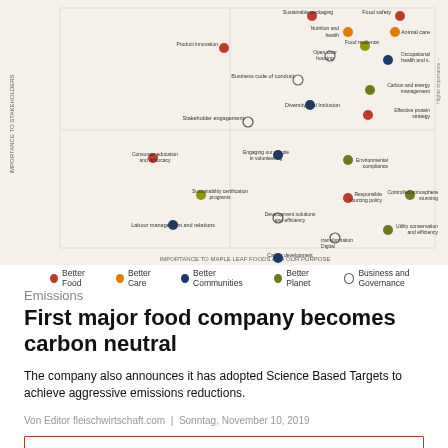[Figure (scatter-plot): Scatter plot showing various ESG topics plotted by importance to stakeholders (y-axis) vs importance to Maple Leaf Foods and our purpose (x-axis). Points are color-coded: red=Better Food, orange=Better Care, blue=Better Communities, olive=Better Planet, open circle=Business and Governance.]
Better Food   Better Care   Better Communities   Better Planet   Business and Governance
Emissions
First major food company becomes carbon neutral
The company also announces it has adopted Science Based Targets to achieve aggressive emissions reductions.
Von Editor fleischwirtschaft.com | Sonntag, November 10, 2019